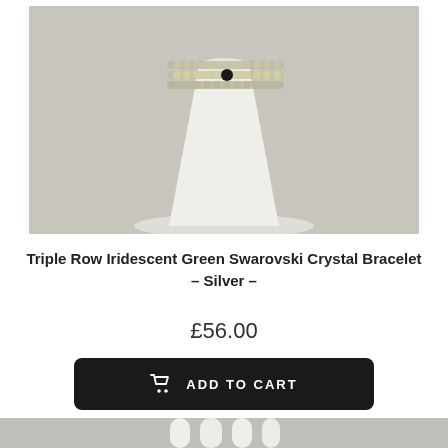[Figure (photo): A beaded crystal bracelet displayed on a white conical ring stand. The bracelet features triple rows of small iridescent green/silver crystals with a black accent bead.]
Triple Row Iridescent Green Swarovski Crystal Bracelet – Silver –
£56.00
[Figure (other): An 'Add to Cart' button with a shopping cart icon, black background, white text reading 'ADD TO CART']
[Figure (photo): A white mannequin hand partially visible, displayed against a light grey background, showing the hand from palm side.]